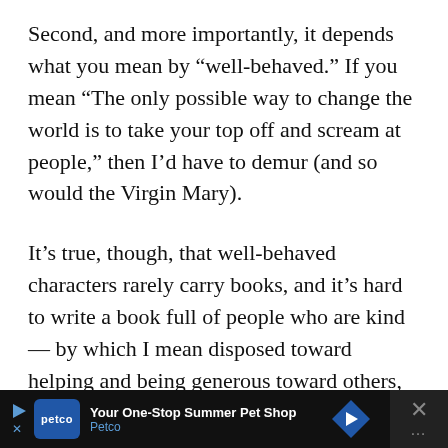Second, and more importantly, it depends what you mean by “well-behaved.” If you mean “The only possible way to change the world is to take your top off and scream at people,” then I’d have to demur (and so would the Virgin Mary).
It’s true, though, that well-behaved characters rarely carry books, and it’s hard to write a book full of people who are kind — by which I mean disposed toward helping and being generous toward others, preferably gently and good-naturedly. It’s possible to write such a book, but it’s rare.
[Figure (other): Advertisement banner for Petco: 'Your One-Stop Summer Pet Shop' with Petco logo, blue arrow icon, and close button with X]